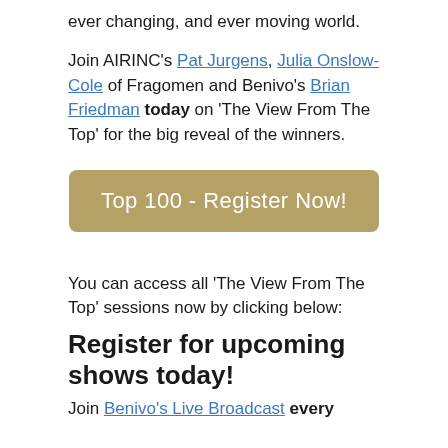ever changing, and ever moving world.
Join AIRINC's Pat Jurgens, Julia Onslow-Cole of Fragomen and Benivo's Brian Friedman today on 'The View From The Top' for the big reveal of the winners.
[Figure (other): Golden/tan rounded rectangle button labeled 'Top 100 - Register Now!']
You can access all 'The View From The Top' sessions now by clicking below:
Register for upcoming shows today!
Join Benivo's Live Broadcast every